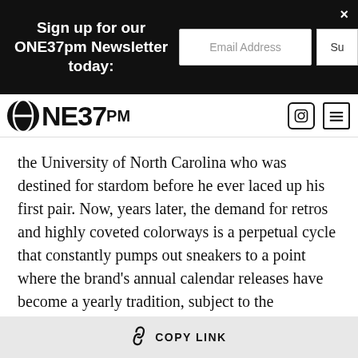Sign up for our ONE37pm Newsletter today:
[Figure (logo): ONE37PM website logo bar with circular logo icon, site name ONE37PM, and navigation icons]
the University of North Carolina who was destined for stardom before he ever laced up his first pair. Now, years later, the demand for retros and highly coveted colorways is a perpetual cycle that constantly pumps out sneakers to a point where the brand’s annual calendar releases have become a yearly tradition, subject to the commentary of the brand’s fans, its adversaries, and of course, the sneaker blogs.
Some of those blogs, I’ve written for. Mostly
COPY LINK